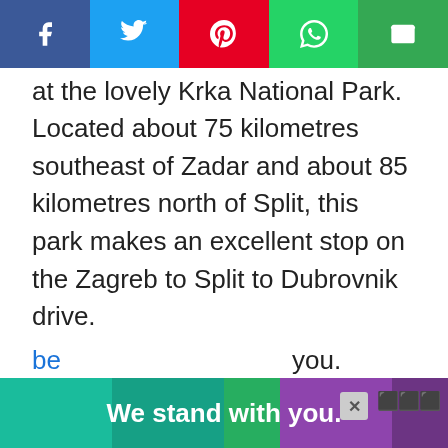[Figure (other): Social share bar with Facebook (blue), Twitter (light blue), Pinterest (red), WhatsApp (green), Email (green) buttons]
at the lovely Krka National Park.
Located about 75 kilometres southeast of Zadar and about 85 kilometres north of Split, this park makes an excellent stop on the Zagreb to Split to Dubrovnik drive.
Krka is essentially a smaller version of Plitvice Lakes, where there are some
We stand with you.